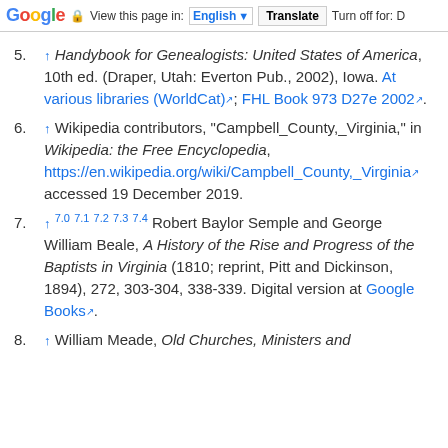Google | View this page in: English | Translate | Turn off for: D
5. ↑ Handybook for Genealogists: United States of America, 10th ed. (Draper, Utah: Everton Pub., 2002), Iowa. At various libraries (WorldCat); FHL Book 973 D27e 2002.
6. ↑ Wikipedia contributors, "Campbell_County,_Virginia," in Wikipedia: the Free Encyclopedia, https://en.wikipedia.org/wiki/Campbell_County,_Virginia accessed 19 December 2019.
7. ↑ 7.0 7.1 7.2 7.3 7.4 Robert Baylor Semple and George William Beale, A History of the Rise and Progress of the Baptists in Virginia (1810; reprint, Pitt and Dickinson, 1894), 272, 303-304, 338-339. Digital version at Google Books.
8. ↑ William Meade, Old Churches, Ministers and